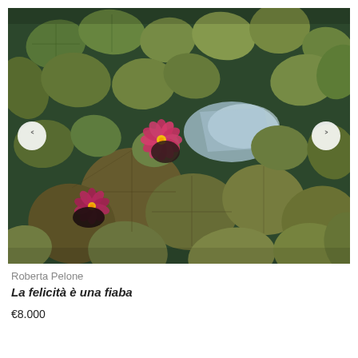[Figure (photo): Aerial view of a pond covered with green lily pads and two pink/magenta water lily flowers blooming. The dark water is visible through gaps between the pads, with a bright reflective area in the upper center. Navigation arrows (left and right) are overlaid on the sides of the image.]
Roberta Pelone
La felicità è una fiaba
€8.000